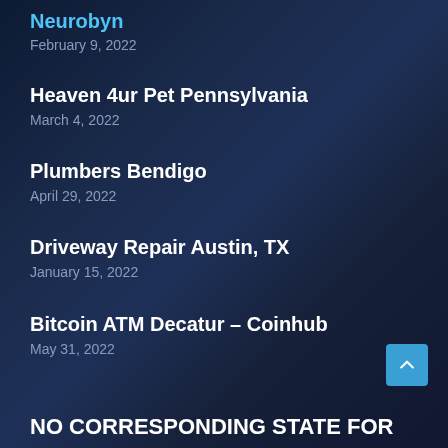Neurobyn
February 9, 2022
Heaven 4ur Pet Pennsylvania
March 4, 2022
Plumbers Bendigo
April 29, 2022
Driveway Repair Austin, TX
January 15, 2022
Bitcoin ATM Decatur – Coinhub
May 31, 2022
NO CORRESPONDING STATE FOR